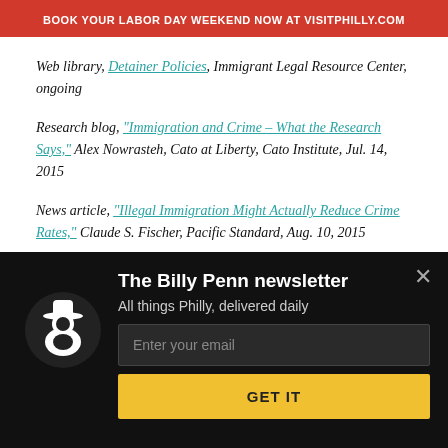[Figure (infographic): Red banner advertisement: BOOK YOUR LABOR DAY WEEKEND NOW AT visitphilly.com]
Web library, Detainer Policies, Immigrant Legal Resource Center, ongoing
Research blog, "Immigration and Crime – What the Research Says," Alex Nowrasteh, Cato at Liberty, Cato Institute, Jul. 14, 2015
News article, "Illegal Immigration Might Actually Reduce Crime Rates," Claude S. Fischer, Pacific Standard, Aug. 10, 2015
[Figure (screenshot): Billy Penn newsletter signup modal overlay with logo, email input, and GET IT button on black background]